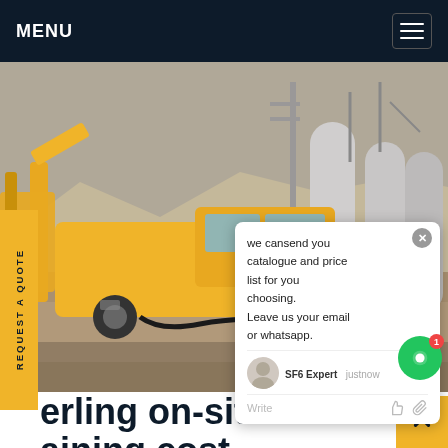MENU
[Figure (photo): A yellow Isuzu truck with a crane/lift mechanism parked at an industrial site with large cylindrical tanks and electrical equipment in the background. Arid, mountainous landscape is visible.]
REQUEST A QUOTE
we cansend you catalogue and price list for you choosing. Leave us your email or whatsapp.
SF6 Expert  justnow
Write
erling on-site SF6 aining cost
sterling on-site SF6 training cost,Sterling Trader provides an all-in-one solution for futures trade with our Futures Order Entry functionality. Trade all